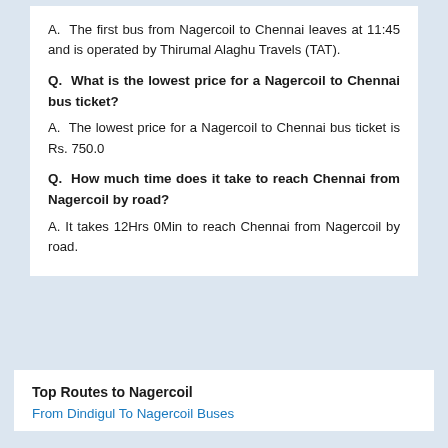A.  The first bus from Nagercoil to Chennai leaves at 11:45 and is operated by Thirumal Alaghu Travels (TAT).
Q.  What is the lowest price for a Nagercoil to Chennai bus ticket?
A.  The lowest price for a Nagercoil to Chennai bus ticket is Rs. 750.0
Q.  How much time does it take to reach Chennai from Nagercoil by road?
A. It takes 12Hrs 0Min to reach Chennai from Nagercoil by road.
Top Routes to Nagercoil
From Dindigul To Nagercoil Buses